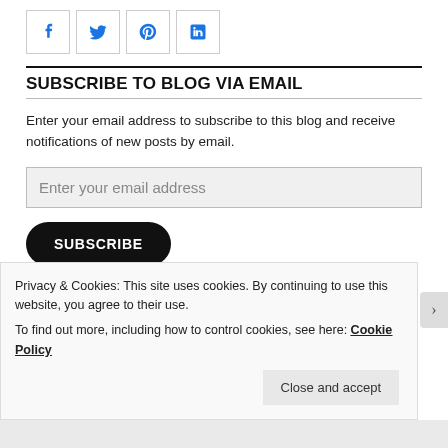[Figure (other): Social media sharing icons: Facebook, Twitter, Pinterest, LinkedIn — each in a square bordered box with blue icons]
SUBSCRIBE TO BLOG VIA EMAIL
Enter your email address to subscribe to this blog and receive notifications of new posts by email.
Enter your email address (input field placeholder)
SUBSCRIBE (button)
Privacy & Cookies: This site uses cookies. By continuing to use this website, you agree to their use. To find out more, including how to control cookies, see here: Cookie Policy
Close and accept